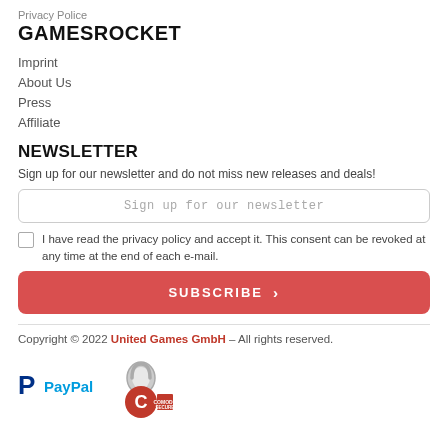Privacy Police
GAMESROCKET
Imprint
About Us
Press
Affiliate
NEWSLETTER
Sign up for our newsletter and do not miss new releases and deals!
I have read the privacy policy and accept it. This consent can be revoked at any time at the end of each e-mail.
SUBSCRIBE
Copyright © 2022 United Games GmbH – All rights reserved.
[Figure (logo): PayPal logo and Comodo Secure badge]